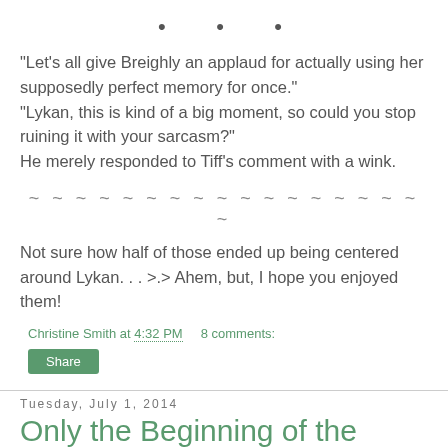• • •
"Let's all give Breighly an applaud for actually using her supposedly perfect memory for once."
"Lykan, this is kind of a big moment, so could you stop ruining it with your sarcasm?"
He merely responded to Tiff's comment with a wink.
~ ~ ~ ~ ~ ~ ~ ~ ~ ~ ~ ~ ~ ~ ~ ~ ~ ~
Not sure how half of those ended up being centered around Lykan. . . >.> Ahem, but, I hope you enjoyed them!
Christine Smith at 4:32 PM   8 comments:
Share
Tuesday, July 1, 2014
Only the Beginning of the Adventure